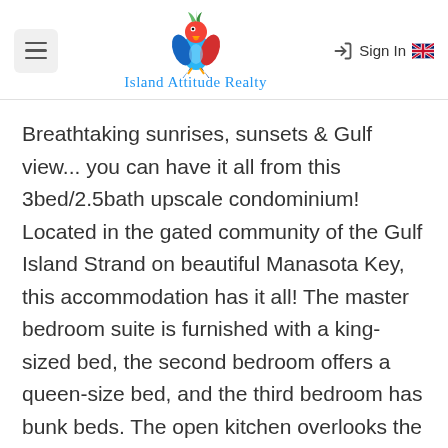Island Attitude Realty
Breathtaking sunrises, sunsets & Gulf view... you can have it all from this 3bed/2.5bath upscale condominium! Located in the gated community of the Gulf Island Strand on beautiful Manasota Key, this accommodation has it all! The master bedroom suite is furnished with a king-sized bed, the second bedroom offers a queen-size bed, and the third bedroom has bunk beds. The open kitchen overlooks the spacious dining and living areas that have modern appliances, stone countertops, a breakfast bar and three stools. There's no better place to prepare your meals! When it's time to eat, you can do so at the formal dining table, seats up to six people and has great ocean